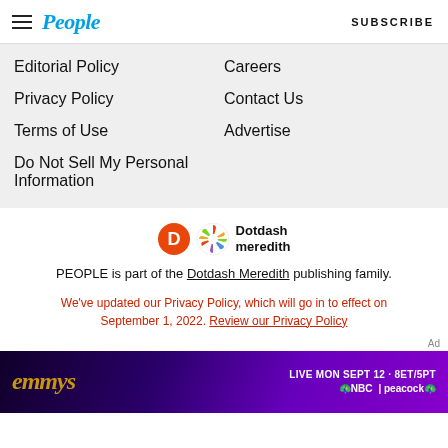People | SUBSCRIBE
Editorial Policy
Careers
Privacy Policy
Contact Us
Terms of Use
Advertise
Do Not Sell My Personal Information
[Figure (logo): Dotdash Meredith logo with orange D circle and colorful flower/peacock icon]
PEOPLE is part of the Dotdash Meredith publishing family.
We've updated our Privacy Policy, which will go in to effect on September 1, 2022. Review our Privacy Policy
Ad
[Figure (photo): Emmys advertisement banner: emmys logo with LIVE MON SEPT 12 · 8ET/5PT on NBC | peacock, purple background]